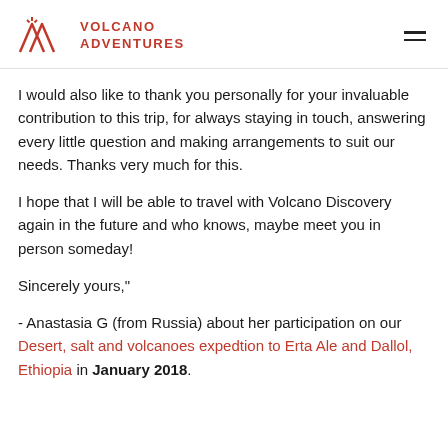Volcano Adventures
I would also like to thank you personally for your invaluable contribution to this trip, for always staying in touch, answering every little question and making arrangements to suit our needs. Thanks very much for this.
I hope that I will be able to travel with Volcano Discovery again in the future and who knows, maybe meet you in person someday!
Sincerely yours,"
- Anastasia G (from Russia) about her participation on our Desert, salt and volcanoes expedtion to Erta Ale and Dallol, Ethiopia in January 2018.